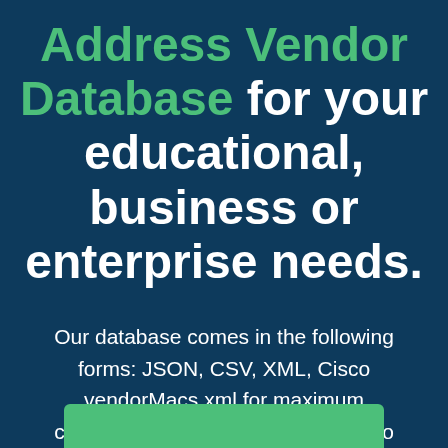Address Vendor Database for your educational, business or enterprise needs.
Our database comes in the following forms: JSON, CSV, XML, Cisco vendorMacs.xml for maximum compatibility and fast integration into existing systems.